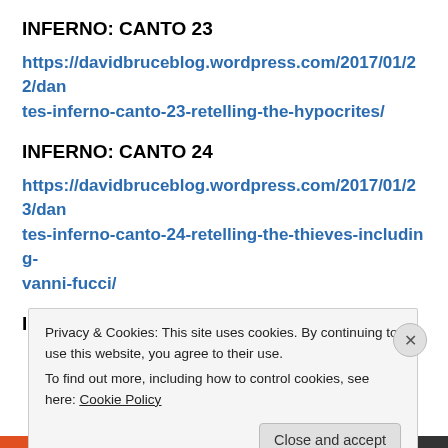INFERNO: CANTO 23
https://davidbruceblog.wordpress.com/2017/01/22/dantes-inferno-canto-23-retelling-the-hypocrites/
INFERNO: CANTO 24
https://davidbruceblog.wordpress.com/2017/01/23/dantes-inferno-canto-24-retelling-the-thieves-including-vanni-fucci/
INFERNO: CANTO 25
Privacy & Cookies: This site uses cookies. By continuing to use this website, you agree to their use.
To find out more, including how to control cookies, see here: Cookie Policy